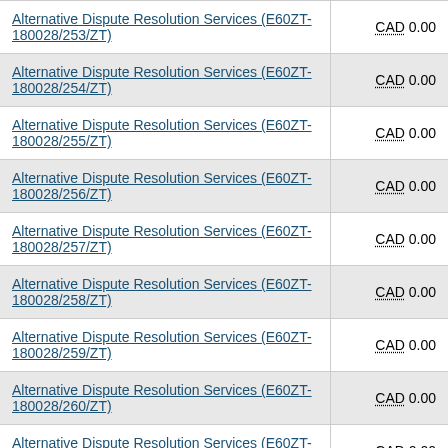| Service | Amount |
| --- | --- |
| Alternative Dispute Resolution Services (E60ZT-180028/253/ZT) | CAD 0.00 |
| Alternative Dispute Resolution Services (E60ZT-180028/254/ZT) | CAD 0.00 |
| Alternative Dispute Resolution Services (E60ZT-180028/255/ZT) | CAD 0.00 |
| Alternative Dispute Resolution Services (E60ZT-180028/256/ZT) | CAD 0.00 |
| Alternative Dispute Resolution Services (E60ZT-180028/257/ZT) | CAD 0.00 |
| Alternative Dispute Resolution Services (E60ZT-180028/258/ZT) | CAD 0.00 |
| Alternative Dispute Resolution Services (E60ZT-180028/259/ZT) | CAD 0.00 |
| Alternative Dispute Resolution Services (E60ZT-180028/260/ZT) | CAD 0.00 |
| Alternative Dispute Resolution Services (E60ZT-180028/261/ZT) | CAD 0.00 |
| Alternative Dispute Resolution Services (E60ZT-... | CAD 0.00 |